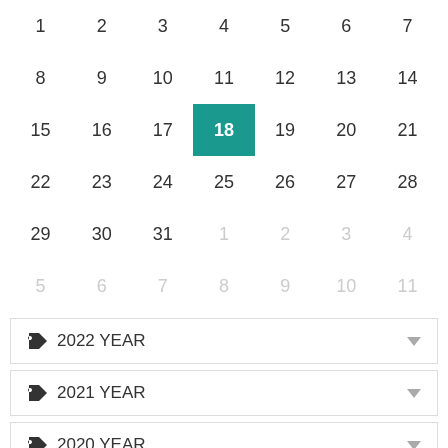| 1 | 2 | 3 | 4 | 5 | 6 | 7 |
| 8 | 9 | 10 | 11 | 12 | 13 | 14 |
| 15 | 16 | 17 | 18 | 19 | 20 | 21 |
| 22 | 23 | 24 | 25 | 26 | 27 | 28 |
| 29 | 30 | 31 | 1 | 2 | 3 | 4 |
| 5 | 6 | 7 | 8 | 9 | 10 | 11 |
2022 YEAR
2021 YEAR
2020 YEAR
2019 YEAR
2018 YEAR